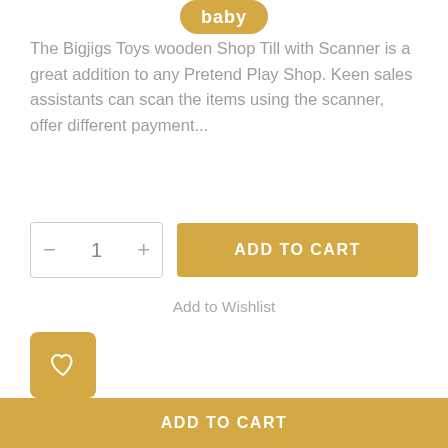[Figure (logo): Partial logo with text 'baby' visible in yellow/gold rounded blob shape at top center]
The Bigjigs Toys wooden Shop Till with Scanner is a great addition to any Pretend Play Shop. Keen sales assistants can scan the items using the scanner, offer different payment...
- 1 + ADD TO CART
Add to Wishlist
[Figure (other): Yellow/gold rounded square button with white heart outline icon]
SKU: BJ468
CATEGORIES: 3 Years + Toys
ADD TO CART